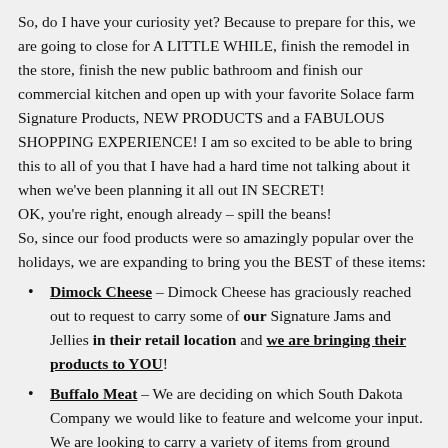So, do I have your curiosity yet? Because to prepare for this, we are going to close for A LITTLE WHILE, finish the remodel in the store, finish the new public bathroom and finish our commercial kitchen and open up with your favorite Solace farm Signature Products, NEW PRODUCTS and a FABULOUS SHOPPING EXPERIENCE! I am so excited to be able to bring this to all of you that I have had a hard time not talking about it when we've been planning it all out IN SECRET!
OK, you're right, enough already – spill the beans!
So, since our food products were so amazingly popular over the holidays, we are expanding to bring you the BEST of these items:
Dimock Cheese – Dimock Cheese has graciously reached out to request to carry some of our Signature Jams and Jellies in their retail location and we are bringing their products to YOU!
Buffalo Meat – We are deciding on which South Dakota Company we would like to feature and welcome your input. We are looking to carry a variety of items from ground buffalo meat to take home and cook to your